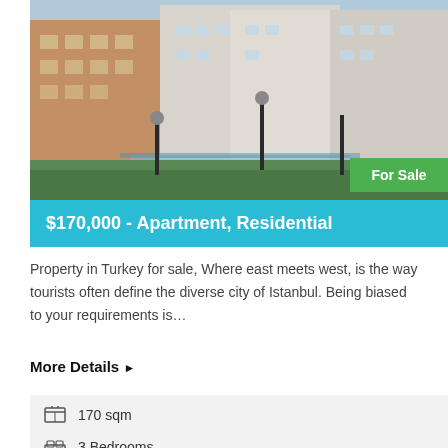[Figure (photo): Exterior photo of residential apartment buildings in Turkey with green lawn and street lamps, showing multi-story buildings]
$170,000 - Apartment, Residential
Property in Turkey for sale, Where east meets west, is the way tourists often define the diverse city of Istanbul. Being biased to your requirements is…
More Details ▶
170 sqm
3 Bedrooms
2 Bathrooms
1 Garage